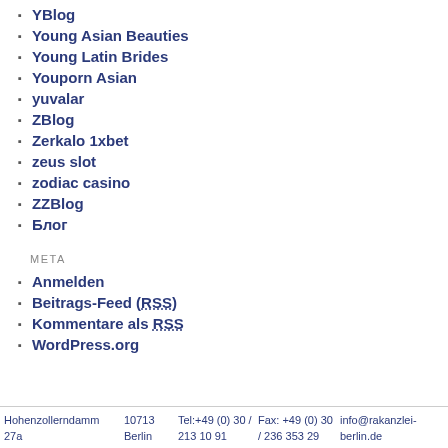YBlog
Young Asian Beauties
Young Latin Brides
Youporn Asian
yuvalar
ZBlog
Zerkalo 1xbet
zeus slot
zodiac casino
ZZBlog
Блог
META
Anmelden
Beitrags-Feed (RSS)
Kommentare als RSS
WordPress.org
Hohenzollerndamm 27a   10713 Berlin   Tel:+49 (0) 30 / 213 10 91   Fax: +49 (0) 30 / 236 353 29   info@rakanzlei-berlin.de